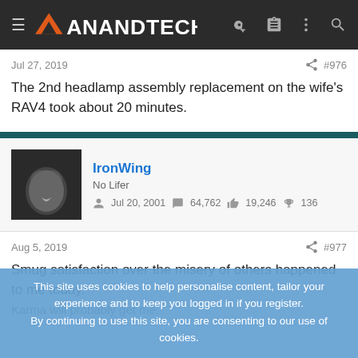AnandTech
Jul 27, 2019  #976
The 2nd headlamp assembly replacement on the wife's RAV4 took about 20 minutes.
IronWing
No Lifer
Jul 20, 2001  64,762  19,246  136
Aug 5, 2019  #977
Smug satisfaction over the misery of others happened to me today. Karma will probably get me.
This site uses cookies to help personalise content, tailor your experience and to keep you logged in if you register.
By continuing to use this site, you are consenting to our use of cookies.